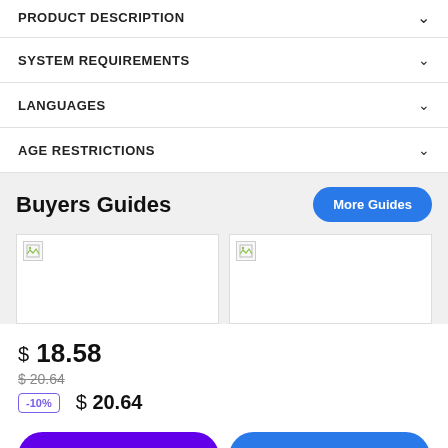PRODUCT DESCRIPTION
SYSTEM REQUIREMENTS
LANGUAGES
AGE RESTRICTIONS
Buyers Guides
[Figure (other): Two buyer guide image thumbnails (broken images shown)]
$ 18.58
$ 20.64 (strikethrough original price)
-10% discount badge
$ 20.64
Buy with G2A Plus
Add to cart